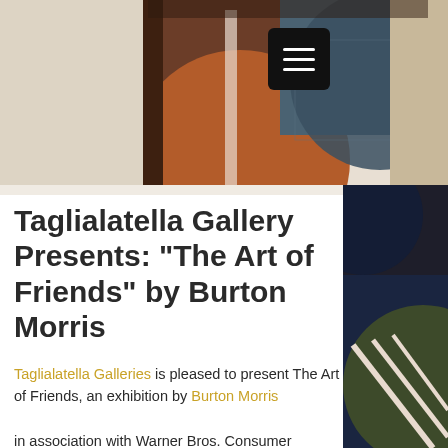[Figure (illustration): Abstract artwork banner with geometric shapes in brown, tan, slate blue, beige, and dark tones forming a collage-style header image. A black square hamburger menu button is overlaid in the upper right area.]
Taglialatella Gallery Presents: "The Art of Friends" by Burton Morris
Taglialatella Galleries is pleased to present The Art of Friends, an exhibition by Burton Morris
in association with Warner Bros. Consumer Products, paying tribute to the artist's creative
[Figure (illustration): Abstract artwork panel on the right side with dark navy blue, olive green, and cream diagonal stripe shapes.]